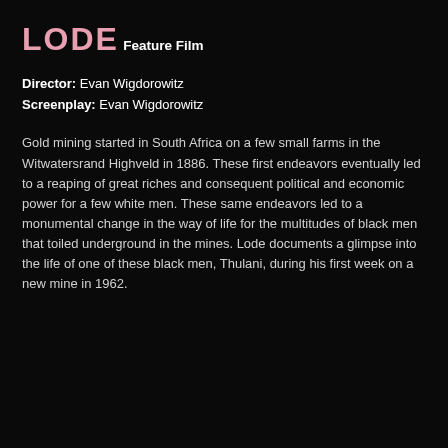LODE
Feature Film
Director: Evan Wigdorowitz
Screenplay: Evan Wigdorowitz
Gold mining started in South Africa on a few small farms in the Witwatersrand Highveld in 1886. These first endeavors eventually led to a reaping of great riches and consequent political and economic power for a few white men. These same endeavors led to a monumental change in the way of life for the multitudes of black men that toiled underground in the mines. Lode documents a glimpse into the life of one of these black men, Thulani, during his first week on a new mine in 1962.